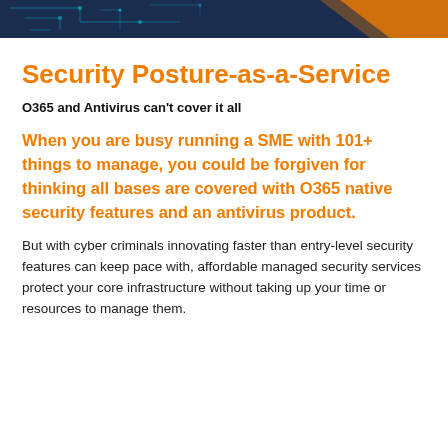[Figure (illustration): Dark navy blue header banner with cyan circuit board pattern on the left and an orange diagonal accent on the right]
Security Posture-as-a-Service
O365 and Antivirus can't cover it all
When you are busy running a SME with 101+ things to manage, you could be forgiven for thinking all bases are covered with O365 native security features and an antivirus product.
But with cyber criminals innovating faster than entry-level security features can keep pace with, affordable managed security services protect your core infrastructure without taking up your time or resources to manage them.